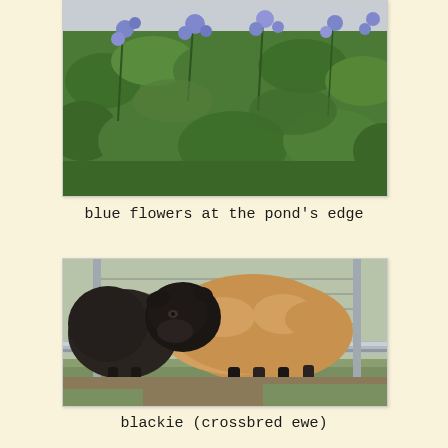[Figure (photo): Photograph of blue flowers and green leafy plants at the edge of a pond, taken against a grey sky background. The image is partially cropped showing only the lower/middle portion.]
blue flowers at the pond's edge
[Figure (photo): Photograph of a sheep with a black head and brown/tan woolly body standing behind a metal gate/fence rail in a paddock. Another darker sheep is partially visible behind it.]
blackie (crossbred ewe)